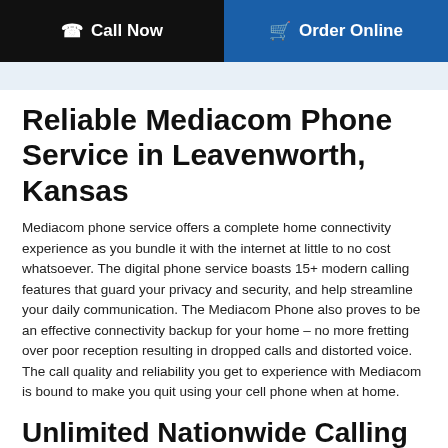Call Now | Order Online
Reliable Mediacom Phone Service in Leavenworth, Kansas
Mediacom phone service offers a complete home connectivity experience as you bundle it with the internet at little to no cost whatsoever. The digital phone service boasts 15+ modern calling features that guard your privacy and security, and help streamline your daily communication. The Mediacom Phone also proves to be an effective connectivity backup for your home – no more fretting over poor reception resulting in dropped calls and distorted voice. The call quality and reliability you get to experience with Mediacom is bound to make you quit using your cell phone when at home.
Unlimited Nationwide Calling